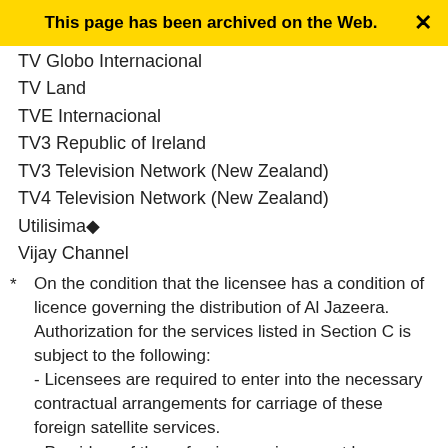This page has been archived on the Web.
TV Globo Internacional
TV Land
TVE Internacional
TV3 Republic of Ireland
TV3 Television Network (New Zealand)
TV4 Television Network (New Zealand)
Utilisima♦
Vijay Channel
* On the condition that the licensee has a condition of licence governing the distribution of Al Jazeera. Authorization for the services listed in Section C is subject to the following:
- Licensees are required to enter into the necessary contractual arrangements for carriage of these foreign satellite services.
- Providers of these foreign services must have obtained and must remain in possession of all necessary rights for the distribution of their programming in Canada.